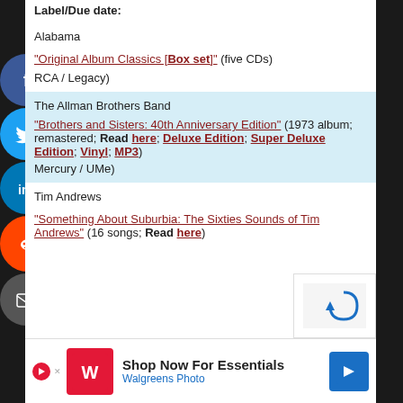Label/Due date:
Alabama
“Original Album Classics [Box set]” (five CDs)
RCA / Legacy)
The Allman Brothers Band
“Brothers and Sisters: 40th Anniversary Edition” (1973 album; remastered; Read here; Deluxe Edition; Super Deluxe Edition; Vinyl; MP3)
Mercury / UMe)
Tim Andrews
“Something About Suburbia: The Sixties Sounds of Tim Andrews” (16 songs; Read here)
[Figure (infographic): Social media share buttons: Facebook, Twitter, LinkedIn, Reddit, Email]